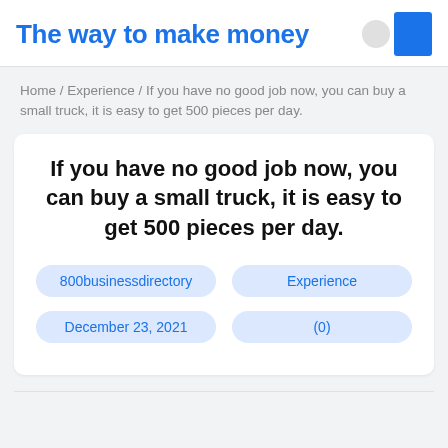The way to make money
Home / Experience / If you have no good job now, you can buy a small truck, it is easy to get 500 pieces per day.
If you have no good job now, you can buy a small truck, it is easy to get 500 pieces per day.
800businessdirectory
Experience
December 23, 2021
(0)